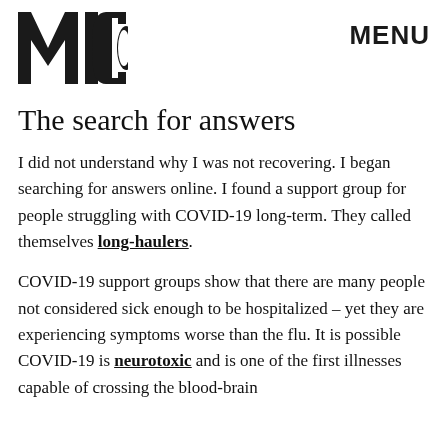MIC
MENU
The search for answers
I did not understand why I was not recovering. I began searching for answers online. I found a support group for people struggling with COVID-19 long-term. They called themselves long-haulers.
COVID-19 support groups show that there are many people not considered sick enough to be hospitalized – yet they are experiencing symptoms worse than the flu. It is possible COVID-19 is neurotoxic and is one of the first illnesses capable of crossing the blood-brain